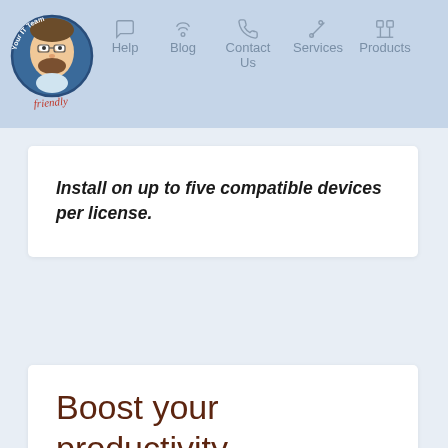[Figure (logo): Your IT Team Friendly logo - circular badge with illustrated man with beard and glasses on blue background]
Help  Blog  Contact Us  Services  Products
Install on up to five compatible devices per license.
Boost your productivity